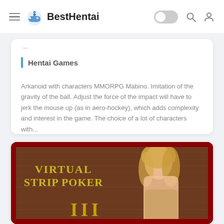BestHentai
Hentai Games
Arkanoid with characters MMORPG Mabino. Imitation of the gravity of the ball. Adjust the force of the impact will have to jerk the mouse up (as in aero-hockey), which adds complexity and interest in the game. The choice of a lot of characters with...
[Figure (photo): Virtual Strip Poker III game cover showing a blonde woman and the text 'VIRTUAL STRIP POKER III' in gold letters on a dark red background]